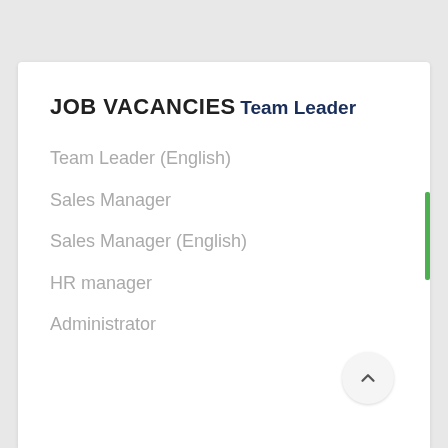JOB VACANCIES
Team Leader
Team Leader (English)
Sales Manager
Sales Manager (English)
HR manager
Administrator